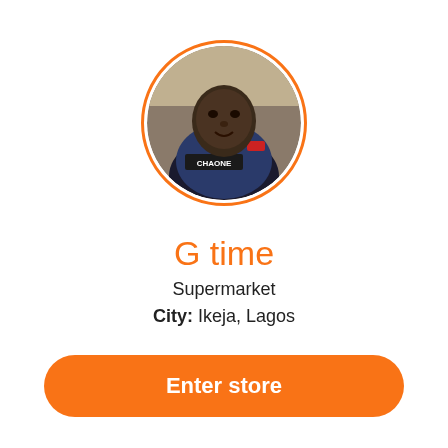[Figure (photo): Circular profile photo of a person wearing a blue CHANEL t-shirt, with an orange border around the circle.]
G time
Supermarket
City: Ikeja, Lagos
Enter store